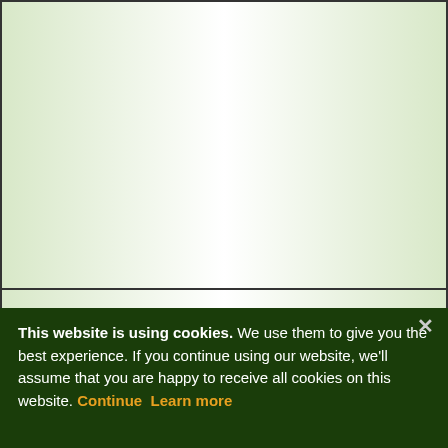[Figure (other): Empty white content area with green gradient borders - top section of a recipe webpage]
To US Units
Ingredient List for 4 servings:
150 gr Chocolate
This website is using cookies. We use them to give you the best experience. If you continue using our website, we'll assume that you are happy to receive all cookies on this website. Continue  Learn more